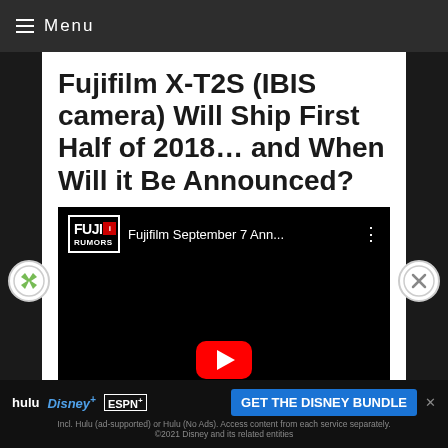≡ Menu
Fujifilm X-T2S (IBIS camera) Will Ship First Half of 2018… and When Will it Be Announced?
[Figure (screenshot): YouTube video thumbnail for 'Fujifilm September 7 Ann...' with FujiRumors logo, black background, red YouTube play button, and bottom filmstrip]
[Figure (screenshot): Advertisement banner for Disney Bundle: Hulu, Disney+, ESPN+ with 'GET THE DISNEY BUNDLE' button and fine print about 2021 Disney]